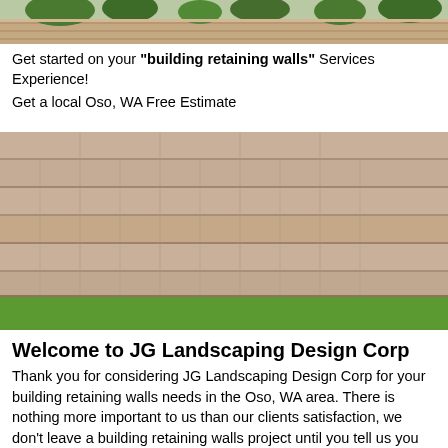[Figure (photo): Top portion of a retaining wall with greenery/trees visible at the top]
Get started on your "building retaining walls" Services Experience!
Get a local Oso, WA Free Estimate
[Figure (photo): Large stone/concrete retaining wall with green grass at the bottom]
Welcome to JG Landscaping Design Corp
Thank you for considering JG Landscaping Design Corp for your building retaining walls needs in the Oso, WA area. There is nothing more important to us than our clients satisfaction, we don’t leave a building retaining walls project until you tell us you are one hundred percent satisfied. We also ensure our clients happiness by educating them and sharing our expert advice. If you need assistance with any building retaining walls